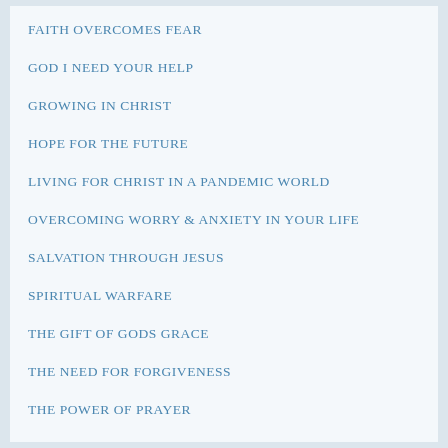FAITH OVERCOMES FEAR
GOD I NEED YOUR HELP
GROWING IN CHRIST
HOPE FOR THE FUTURE
LIVING FOR CHRIST IN A PANDEMIC WORLD
OVERCOMING WORRY & ANXIETY IN YOUR LIFE
SALVATION THROUGH JESUS
SPIRITUAL WARFARE
THE GIFT OF GODS GRACE
THE NEED FOR FORGIVENESS
THE POWER OF PRAYER
THROWBACK THURSDAYS